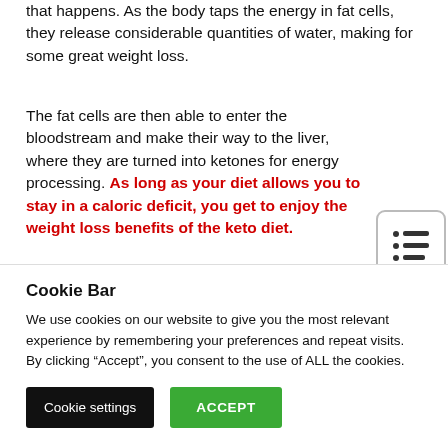that happens. As the body taps the energy in fat cells, they release considerable quantities of water, making for some great weight loss.
The fat cells are then able to enter the bloodstream and make their way to the liver, where they are turned into ketones for energy processing. As long as your diet allows you to stay in a caloric deficit, you get to enjoy the weight loss benefits of the keto diet.
[Figure (other): Table of contents / list icon button with two rows of bullet-list lines, positioned at right side]
Cookie Bar
We use cookies on our website to give you the most relevant experience by remembering your preferences and repeat visits. By clicking “Accept”, you consent to the use of ALL the cookies.
Cookie settings | ACCEPT